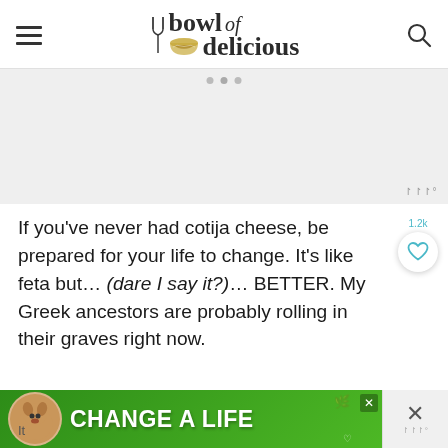bowl of delicious
[Figure (other): Gray advertisement placeholder area with three dots at top and a Mediavine badge at bottom right]
If you've never had cotija cheese, be prepared for your life to change. It's like feta but... (dare I say it?)... BETTER. My Greek ancestors are probably rolling in their graves right now.
[Figure (other): Bottom banner advertisement showing a dog and 'CHANGE A LIFE' text on green background with close buttons]